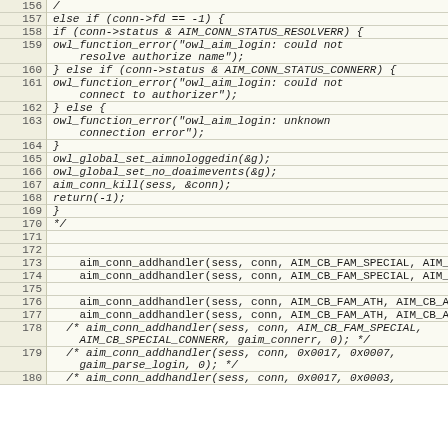| line | code |
| --- | --- |
| 156 | / |
| 157 |   else if (conn->fd == -1) { |
| 158 |     if (conn->status & AIM_CONN_STATUS_RESOLVERR) { |
| 159 |       owl_function_error("owl_aim_login: could not resolve authorize name"); |
| 160 |     } else if (conn->status & AIM_CONN_STATUS_CONNERR) { |
| 161 |       owl_function_error("owl_aim_login: could not connect to authorizer"); |
| 162 |     } else { |
| 163 |       owl_function_error("owl_aim_login: unknown connection error"); |
| 164 |     } |
| 165 |       owl_global_set_aimnologgedin(&g); |
| 166 |       owl_global_set_no_doaimevents(&g); |
| 167 |       aim_conn_kill(sess, &conn); |
| 168 |       return(-1); |
| 169 |   } |
| 170 |   */ |
| 171 |  |
| 172 |  |
| 173 |   aim_conn_addhandler(sess, conn, AIM_CB_FAM_SPECIAL, AIM_C |
| 174 |   aim_conn_addhandler(sess, conn, AIM_CB_FAM_SPECIAL, AIM_C |
| 175 |  |
| 176 |   aim_conn_addhandler(sess, conn, AIM_CB_FAM_ATH, AIM_CB_AT |
| 177 |   aim_conn_addhandler(sess, conn, AIM_CB_FAM_ATH, AIM_CB_AT |
| 178 |   /* aim_conn_addhandler(sess, conn, AIM_CB_FAM_SPECIAL, AIM_CB_SPECIAL_CONNERR, gaim_connerr, 0); */ |
| 179 |   /* aim_conn_addhandler(sess, conn, 0x0017, 0x0007, gaim_parse_login, 0); */ |
| 180 |   /* aim_conn_addhandler(sess, conn, 0x0017, 0x0003, |